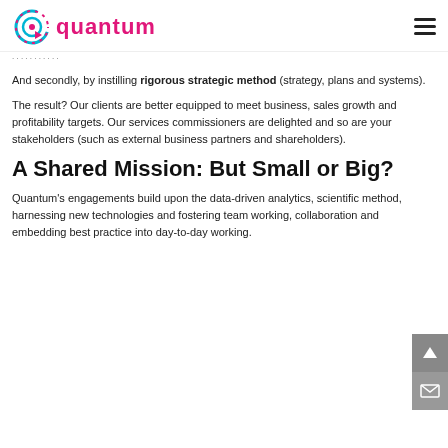quantum
And secondly, by instilling rigorous strategic method (strategy, plans and systems).
The result? Our clients are better equipped to meet business, sales growth and profitability targets. Our services commissioners are delighted and so are your stakeholders (such as external business partners and shareholders).
A Shared Mission: But Small or Big?
Quantum's engagements build upon the data-driven analytics, scientific method, harnessing new technologies and fostering team working, collaboration and embedding best practice into day-to-day working.